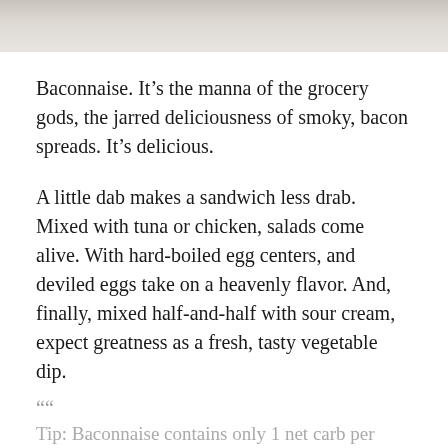[Figure (photo): Partial view of a plate or bowl, cropped at top of page, showing white dishware]
Baconnaise. It’s the manna of the grocery gods, the jarred deliciousness of smoky, bacon spreads. It’s delicious.
A little dab makes a sandwich less drab. Mixed with tuna or chicken, salads come alive. With hard-boiled egg centers, and deviled eggs take on a heavenly flavor. And, finally, mixed half-and-half with sour cream, expect greatness as a fresh, tasty vegetable dip.
““ Tip: Baconnaise contains only 1 net carb per